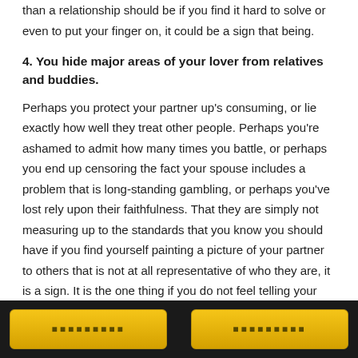than a relationship should be if you find it hard to solve or even to put your finger on, it could be a sign that being.
4. You hide major areas of your lover from relatives and buddies.
Perhaps you protect your partner up's consuming, or lie exactly how well they treat other people. Perhaps you're ashamed to admit how many times you battle, or perhaps you end up censoring the fact your spouse includes a problem that is long-standing gambling, or perhaps you've lost rely upon their faithfulness. That they are simply not measuring up to the standards that you know you should have if you find yourself painting a picture of your partner to others that is not at all representative of who they are, it is a sign. It is the one thing if you do not feel telling your conservative parents that the boyfriend that is new grew for a commune. But if you are regularly making
□□□□□□□□□  □□□□□□□□□